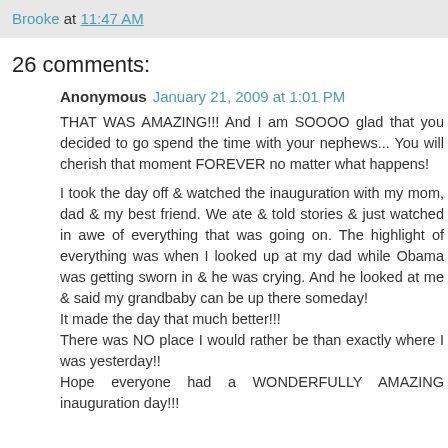Brooke at 11:47 AM
26 comments:
Anonymous January 21, 2009 at 1:01 PM
THAT WAS AMAZING!!! And I am SOOOO glad that you decided to go spend the time with your nephews... You will cherish that moment FOREVER no matter what happens!

I took the day off & watched the inauguration with my mom, dad & my best friend. We ate & told stories & just watched in awe of everything that was going on. The highlight of everything was when I looked up at my dad while Obama was getting sworn in & he was crying. And he looked at me & said my grandbaby can be up there someday!
It made the day that much better!!!
There was NO place I would rather be than exactly where I was yesterday!!
Hope everyone had a WONDERFULLY AMAZING inauguration day!!!